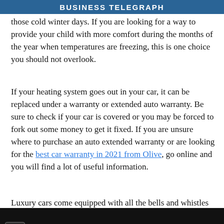BUSINESS TELEGRAPH
those cold winter days. If you are looking for a way to provide your child with more comfort during the months of the year when temperatures are freezing, this is one choice you should not overlook.
If your heating system goes out in your car, it can be replaced under a warranty or extended auto warranty. Be sure to check if your car is covered or you may be forced to fork out some money to get it fixed. If you are unsure where to purchase an auto extended warranty or are looking for the best car warranty in 2021 from Olive, go online and you will find a lot of useful information.
Luxury cars come equipped with all the bells and whistles of a
This website uses cookies. By continuing to use this site, you accept our use of cookies.
[Figure (other): Advertisement banner for Yolo Froyo by sweetFrog with navigation arrow icon]